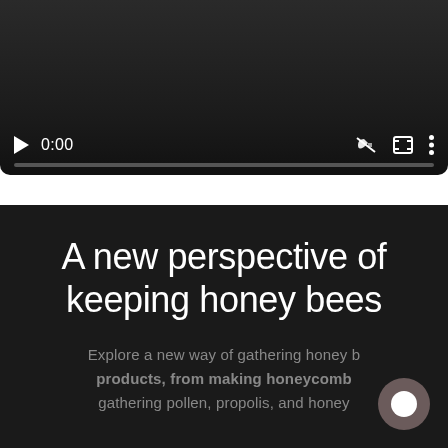[Figure (screenshot): Video player with dark background showing controls: play button, time display '0:00', mute icon, fullscreen icon, and options icon. Progress bar at the bottom.]
A new perspective of keeping honey bees
Explore a new way of gathering honey bee products, from making honeycomb gathering pollen, propolis, and honey